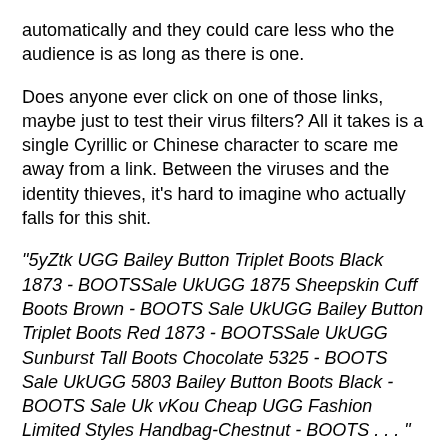automatically and they could care less who the audience is as long as there is one.
Does anyone ever click on one of those links, maybe just to test their virus filters? All it takes is a single Cyrillic or Chinese character to scare me away from a link. Between the viruses and the identity thieves, it's hard to imagine who actually falls for this shit.
"5yZtk UGG Bailey Button Triplet Boots Black 1873 - BOOTSSale UkUGG 1875 Sheepskin Cuff Boots Brown - BOOTS Sale UkUGG Bailey Button Triplet Boots Red 1873 - BOOTSSale UkUGG Sunburst Tall Boots Chocolate 5325 - BOOTS Sale UkUGG 5803 Bailey Button Boots Black - BOOTS Sale Uk vKou Cheap UGG Fashion Limited Styles Handbag-Chestnut - BOOTS . . . " 'Cause nothin' says you're clinically lame like a pair of UGG boots.
or
"To believe with certainty,we must begin with doubting. ï»¿http://www.christian[deleted weirdness].com/ . . . " I